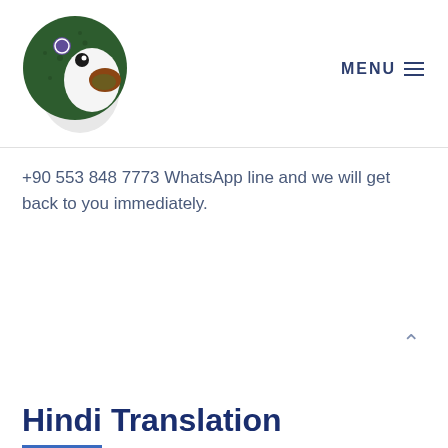[Figure (logo): Green parrot logo with white body and brown beak, circular shape with a small purple badge]
MENU ≡
+90 553 848 7773 WhatsApp line and we will get back to you immediately.
Hindi Translation